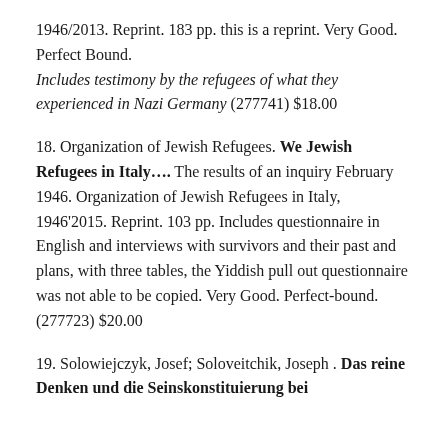1946/2013. Reprint. 183 pp. this is a reprint. Very Good. Perfect Bound.
Includes testimony by the refugees of what they experienced in Nazi Germany (277741) $18.00
18. Organization of Jewish Refugees. We Jewish Refugees in Italy…. The results of an inquiry February 1946. Organization of Jewish Refugees in Italy, 1946'2015. Reprint. 103 pp. Includes questionnaire in English and interviews with survivors and their past and plans, with three tables, the Yiddish pull out questionnaire was not able to be copied. Very Good. Perfect-bound. (277723) $20.00
19. Solowiejczyk, Josef; Soloveitchik, Joseph . Das reine Denken und die Seinskonstituierung bei